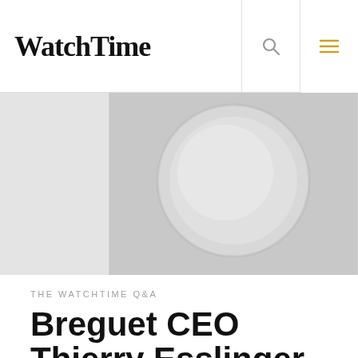WatchTime
[Figure (photo): Blurred close-up photo of a Breguet watch dial, shown in greyscale with soft focus]
THE WATCHTIME Q&A
Breguet CEO Thierry Esslinger On the Future of the Brand
Written by